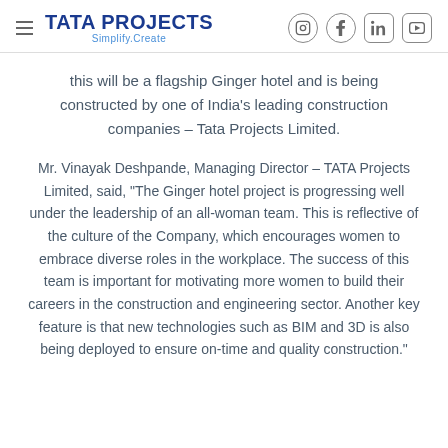TATA PROJECTS Simplify.Create
this will be a flagship Ginger hotel and is being constructed by one of India's leading construction companies – Tata Projects Limited.
Mr. Vinayak Deshpande, Managing Director – TATA Projects Limited, said, "The Ginger hotel project is progressing well under the leadership of an all-woman team. This is reflective of the culture of the Company, which encourages women to embrace diverse roles in the workplace. The success of this team is important for motivating more women to build their careers in the construction and engineering sector. Another key feature is that new technologies such as BIM and 3D is also being deployed to ensure on-time and quality construction."